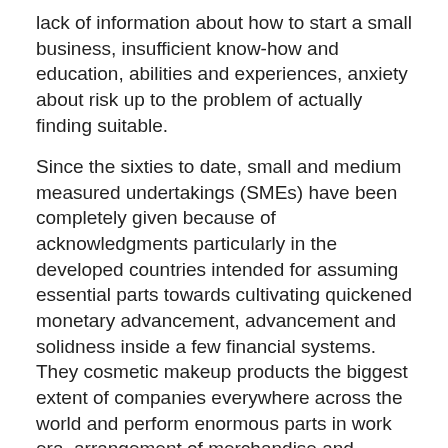lack of information about how to start a small business, insufficient know-how and education, abilities and experiences, anxiety about risk up to the problem of actually finding suitable.
Since the sixties to date, small and medium measured undertakings (SMEs) have been completely given because of acknowledgments particularly in the developed countries intended for assuming essential parts towards cultivating quickened monetary advancement, advancement and solidness inside a few financial systems. They cosmetic makeup products the biggest extent of companies everywhere across the world and perform enormous parts in work era, arrangement of merchandise and ventures, producing a superior way of life, and additionally monstrously contributing to the gross household items (GDPs) of several nations. Over the most recent handful of decades, the commitments of the SMEs part, the improvement in the biggest economies on the planet include shot the searchlight on the uniqueness in the SMEs, which have prevailing with regards to overruling beforehand kept perspectives that SMEs were just •miniature versions of bigger organizations. Although little and medium organization are on the middle of the insurance discussion to get quite your time in every